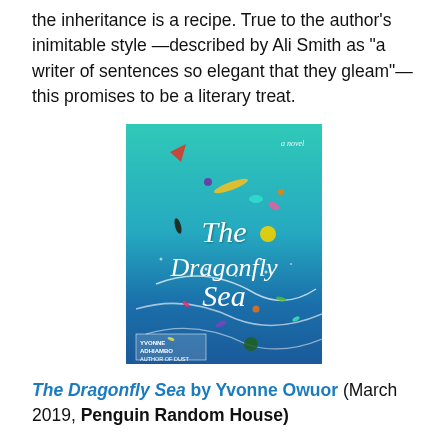the inheritance is a recipe. True to the author's inimitable style —described by Ali Smith as "a writer of sentences so elegant that they gleam"— this promises to be a literary treat.
[Figure (illustration): Book cover of 'The Dragonfly Sea' by Yvonne Adhiambo Owuor. Teal/turquoise to blue gradient background with colorful abstract splashes and splatters. White script title text reads 'The Dragonfly Sea'. Author name at bottom left in white box. Labeled 'a novel'.]
The Dragonfly Sea by Yvonne Owuor (March 2019, Penguin Random House)